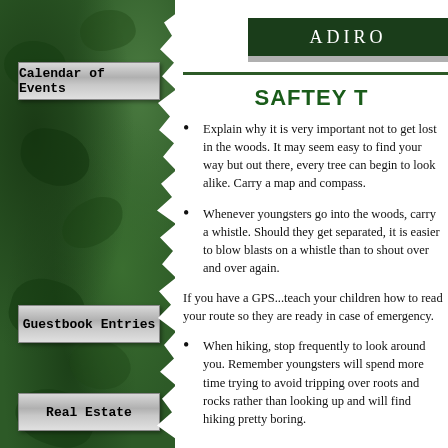[Figure (illustration): Green forest/foliage textured sidebar on the left side of the page with torn paper edge effect and navigation buttons]
Calendar of Events
Guestbook Entries
Real Estate
ADIRO
SAFTEY T
Explain why it is very important not to get lost in the woods. It may seem easy to find your way but out there, every tree can begin to look alike. Carry a map and compass.
Whenever youngsters go into the woods, carry a whistle. Should they get separated, it is easier to blow blasts on a whistle than to shout over and over again.
If you have a GPS...teach your children how to read your route so they are ready in case of emergency.
When hiking, stop frequently to look around you. Remember youngsters will spend more time trying to avoid tripping over roots and rocks rather than looking up and will find hiking pretty boring.